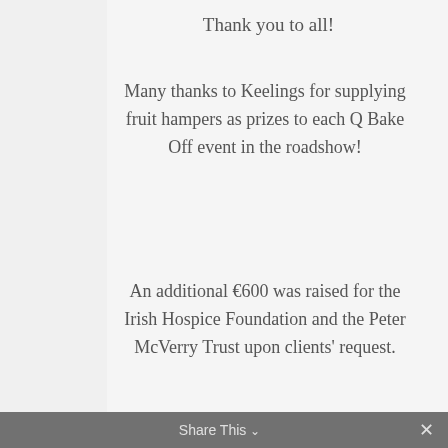Thank you to all!
Many thanks to Keelings for supplying fruit hampers as prizes to each Q Bake Off event in the roadshow!
An additional €600 was raised for the Irish Hospice Foundation and the Peter McVerry Trust upon clients' request.
https://www.qcafe.ie/wp-content/uploads/2018/07/IMG_0726-e1531743891767-225×300.jpghttps://www.qcafe.ie/wp-
Share This ∨  ×